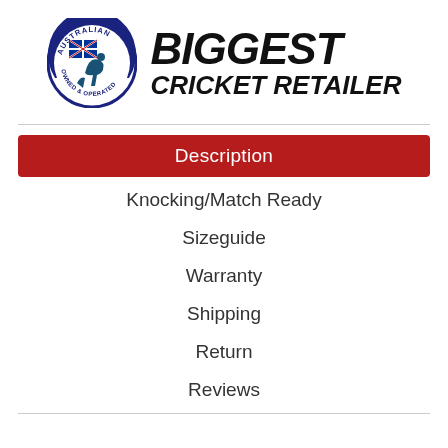[Figure (logo): Australian Owned & Operated logo with kangaroo and Australian flag, circular badge, alongside bold italic text 'BIGGEST CRICKET RETAILER']
Description
Knocking/Match Ready
Sizeguide
Warranty
Shipping
Return
Reviews